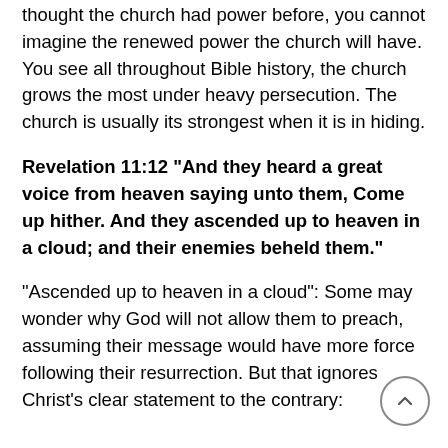thought the church had power before, you cannot imagine the renewed power the church will have. You see all throughout Bible history, the church grows the most under heavy persecution. The church is usually its strongest when it is in hiding.
Revelation 11:12 “And they heard a great voice from heaven saying unto them, Come up hither. And they ascended up to heaven in a cloud; and their enemies beheld them.”
“Ascended up to heaven in a cloud”: Some may wonder why God will not allow them to preach, assuming their message would have more force following their resurrection. But that ignores Christ’s clear statement to the contrary: